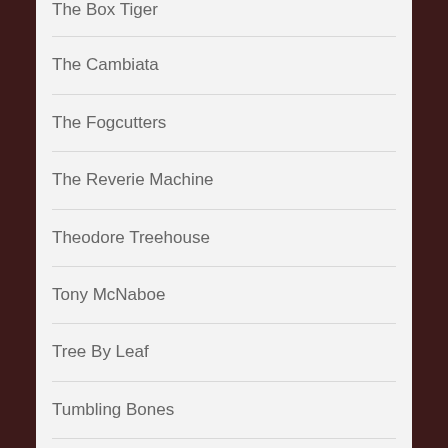The Box Tiger
The Cambiata
The Fogcutters
The Reverie Machine
Theodore Treehouse
Tony McNaboe
Tree By Leaf
Tumbling Bones
Twisted Roots
Uncategorized